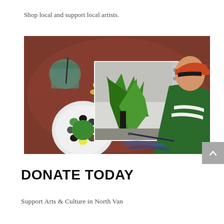Shop local and support local artists.
[Figure (photo): Overhead view of a child in a green and white striped jacket and cap, painting a green plant on a sketchbook. On the red-brown table there is a paint palette with green and black paint, a jar of water with a brush, and scattered paint blobs.]
DONATE TODAY
Support Arts & Culture in North Van